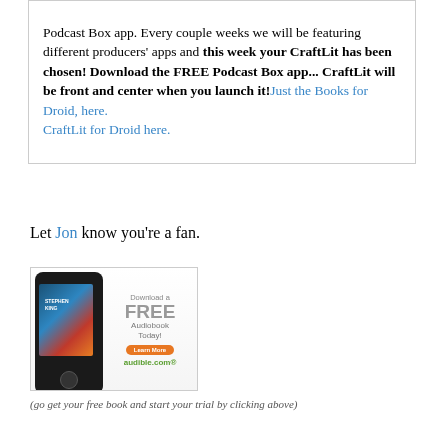Podcast Box app. Every couple weeks we will be featuring different producers' apps and this week your CraftLit has been chosen! Download the FREE Podcast Box app... CraftLit will be front and center when you launch it! Just the Books for Droid, here. CraftLit for Droid here.
Let Jon know you're a fan.
[Figure (photo): Audible.com advertisement banner showing a smartphone with Stephen King book cover and text: Download a FREE Audiobook Today! Learn More. audible.com]
(go get your free book and start your trial by clicking above)